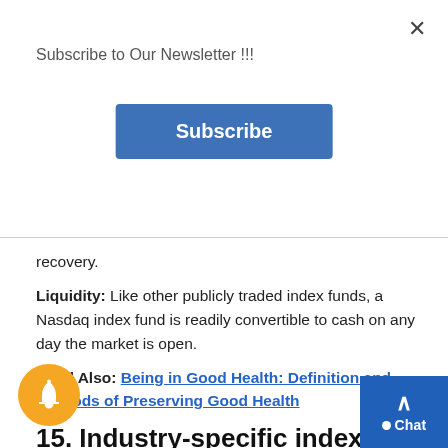Subscribe to Our Newsletter !!!
recovery.
Liquidity: Like other publicly traded index funds, a Nasdaq index fund is readily convertible to cash on any day the market is open.
Read Also: Being in Good Health: Definition and Methods of Preserving Good Health
15. Industry-specific index fund
Do you like an industry but don't know want to (or pick the winners? A good option for you be an industry-specific index fund.